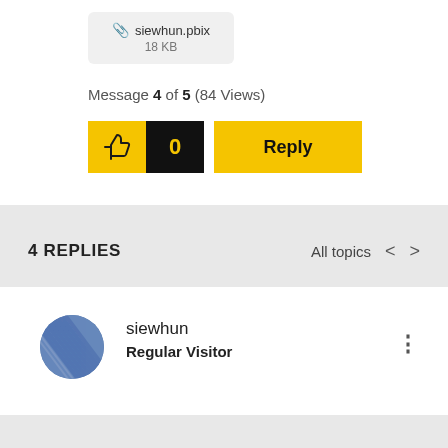[Figure (other): Attachment thumbnail showing file 'siewhun.pbix', 18 KB, with a paperclip icon]
Message 4 of 5 (84 Views)
[Figure (other): Like button (thumbs up icon) with count 0 in black box, and yellow Reply button]
4 REPLIES
All topics
[Figure (other): User avatar for siewhun — blue striped circle]
siewhun
Regular Visitor